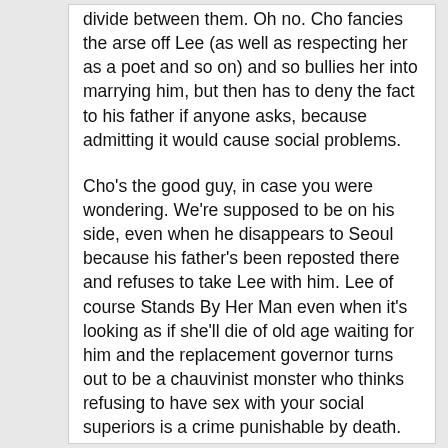divide between them. Oh no. Cho fancies the arse off Lee (as well as respecting her as a poet and so on) and so bullies her into marrying him, but then has to deny the fact to his father if anyone asks, because admitting it would cause social problems.
Cho's the good guy, in case you were wondering. We're supposed to be on his side, even when he disappears to Seoul because his father's been reposted there and refuses to take Lee with him. Lee of course Stands By Her Man even when it's looking as if she'll die of old age waiting for him and the replacement governor turns out to be a chauvinist monster who thinks refusing to have sex with your social superiors is a crime punishable by death. This is where the film improves. I had no interest whatsoever in Cho's character, but seeing Lee stand up for her virtue is dramatically stronger, even if from a modern standpoint one might raise an eyebrow at what it's saying about feminine virtue. Chunhyang seems to